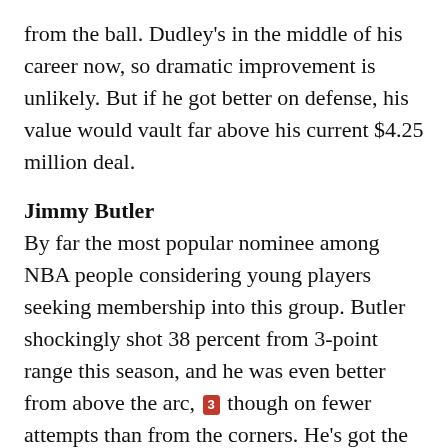from the ball. Dudley's in the middle of his career now, so dramatic improvement is unlikely. But if he got better on defense, his value would vault far above his current $4.25 million deal.
Jimmy Butler
By far the most popular nominee among NBA people considering young players seeking membership into this group. Butler shockingly shot 38 percent from 3-point range this season, and he was even better from above the arc, [3] though on fewer attempts than from the corners. He's got the size and speed to defend both wing positions, and he has learned under the NBA's best defensive coach. He's a bargain on his rookie deal, and it will be interesting to see how much individual scoring ability he showcases before that deal is up — and how the league views him at that point. Butler still has to prove his 3-point shooting can sustain over the long haul, but the early signs are very good.